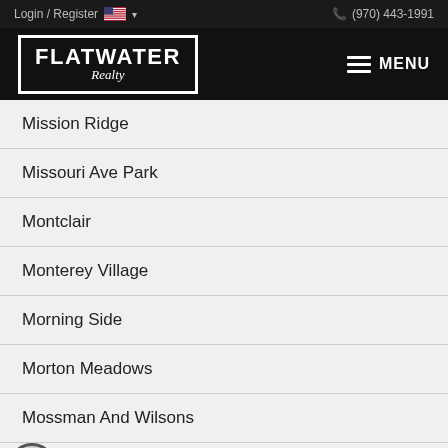Login / Register  (970) 443-1991
[Figure (logo): Flatwater Realty logo with MENU button on black background]
Mission Ridge
Missouri Ave Park
Montclair
Monterey Village
Morning Side
Morton Meadows
Mossman And Wilsons
Mount Douglas
Mount View Acres